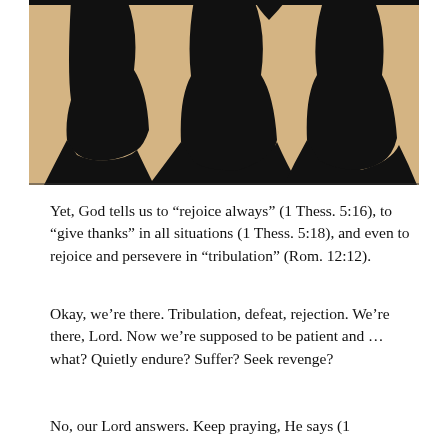[Figure (photo): Silhouette image of three figures (appearing to be women in dresses) against a warm golden/beige background, with dark black silhouettes creating a contrast.]
Yet, God tells us to “rejoice always” (1 Thess. 5:16), to “give thanks” in all situations (1 Thess. 5:18), and even to rejoice and persevere in “tribulation” (Rom. 12:12).
Okay, we’re there. Tribulation, defeat, rejection. We’re there, Lord. Now we’re supposed to be patient and … what? Quietly endure? Suffer? Seek revenge?
No, our Lord answers. Keep praying, He says (1